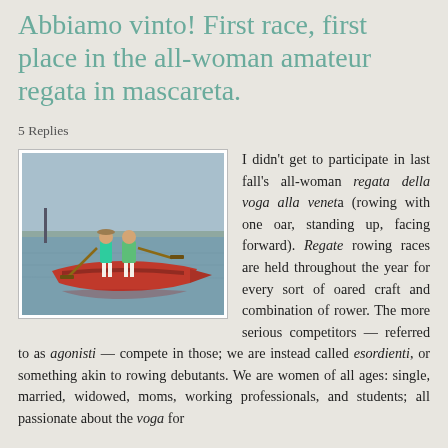Abbiamo vinto! First race, first place in the all-woman amateur regata in mascareta.
5 Replies
[Figure (photo): Two women standing in a red mascareta boat on open water, rowing with oars, wearing white pants and teal/green tops.]
I didn't get to participate in last fall's all-woman regata della voga alla veneta (rowing with one oar, standing up, facing forward). Regate rowing races are held throughout the year for every sort of oared craft and combination of rower. The more serious competitors — referred to as agonisti — compete in those; we are instead called esordienti, or something akin to rowing debutants. We are women of all ages: single, married, widowed, moms, working professionals, and students; all passionate about the voga for